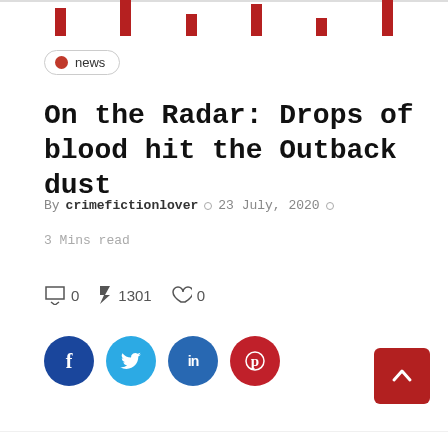[Figure (illustration): Top decorative banner with dark red vertical bars on white background]
news
On the Radar: Drops of blood hit the Outback dust
By crimefictionlover ○ 23 July, 2020 ○
3 Mins read
0  ⚡ 1301  ♡ 0
[Figure (infographic): Social share buttons: Facebook (dark blue circle), Twitter (light blue circle), LinkedIn (blue circle), Pinterest (red circle)]
[Figure (illustration): Back to top button — dark red rounded square with upward caret arrow, bottom right corner]